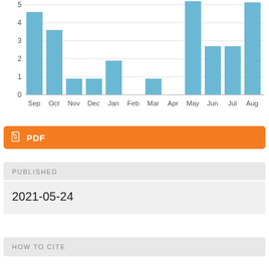[Figure (bar-chart): ]
PDF
PUBLISHED
2021-05-24
HOW TO CITE